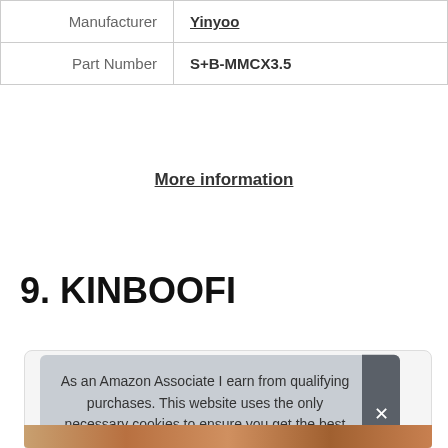| Manufacturer | Yinyoo |
| Part Number | S+B-MMCX3.5 |
More information
9. KINBOOFI
[Figure (other): Product card area showing top portion of a product listing for KINBOOFI, partially obscured by cookie consent banner]
As an Amazon Associate I earn from qualifying purchases. This website uses the only necessary cookies to ensure you get the best experience on our website. More information